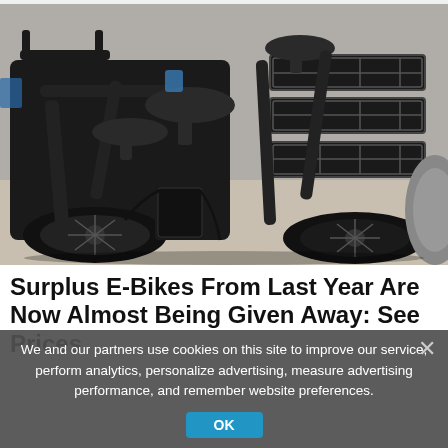[Figure (photo): Close-up photo of black electric bicycles (e-bikes) with fat tires, rear cargo racks, and battery packs, parked indoors on a concrete floor.]
Surplus E-Bikes From Last Year Are Now Almost Being Given Away: See Prices
We and our partners use cookies on this site to improve our service, perform analytics, personalize advertising, measure advertising performance, and remember website preferences.